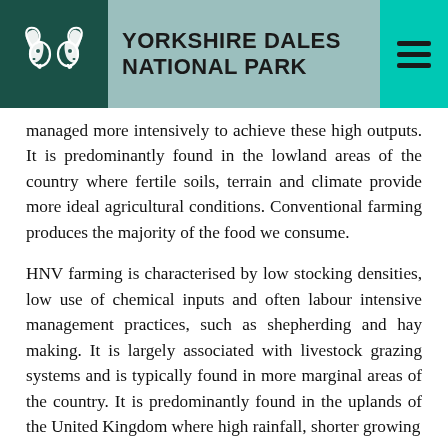YORKSHIRE DALES NATIONAL PARK
managed more intensively to achieve these high outputs. It is predominantly found in the lowland areas of the country where fertile soils, terrain and climate provide more ideal agricultural conditions. Conventional farming produces the majority of the food we consume.
HNV farming is characterised by low stocking densities, low use of chemical inputs and often labour intensive management practices, such as shepherding and hay making. It is largely associated with livestock grazing systems and is typically found in more marginal areas of the country. It is predominantly found in the uplands of the United Kingdom where high rainfall, shorter growing seasons...